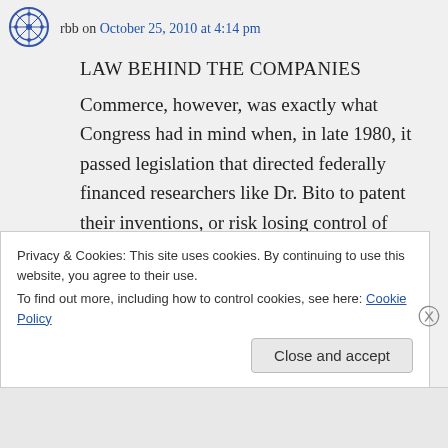rbb on October 25, 2010 at 4:14 pm
LAW BEHIND THE COMPANIES
Commerce, however, was exactly what Congress had in mind when, in late 1980, it passed legislation that directed federally financed researchers like Dr. Bito to patent their inventions, or risk losing control of them to the government.
Ronald Reagan had just won
Privacy & Cookies: This site uses cookies. By continuing to use this website, you agree to their use.
To find out more, including how to control cookies, see here: Cookie Policy